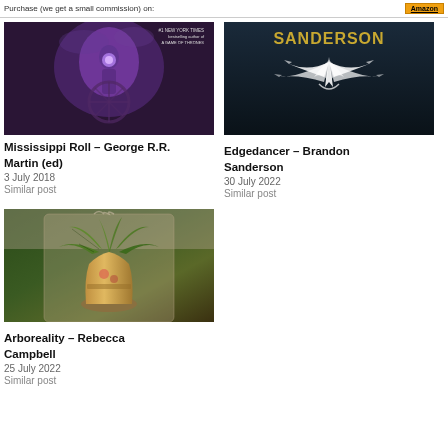Purchase (we get a small commission) on: Amazon
[Figure (photo): Book cover for Mississippi Roll edited by George R.R. Martin, showing a dark purple fantasy scene with a glowing figure]
Mississippi Roll – George R.R. Martin (ed)
3 July 2018
Similar post
[Figure (photo): Book cover for Edgedancer by Brandon Sanderson, showing the name SANDERSON in gold letters on a dark background with a white wing/blade emblem]
Edgedancer – Brandon Sanderson
30 July 2022
Similar post
[Figure (photo): Book cover for Arboreality by Rebecca Campbell, showing a floral scene with leaves and a decorated vase or urn]
Arboreality – Rebecca Campbell
25 July 2022
Similar post